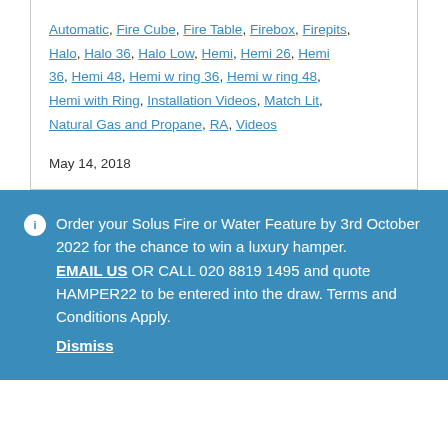Automatic, Fire Cube, Fire Table, Firebox, Firepits, Halo, Halo 36, Halo Low, Hemi, Hemi 26, Hemi 36, Hemi 48, Hemi w ring 36, Hemi w ring 48, Hemi with Ring, Installation Videos, Match Lit, Natural Gas and Propane, RA, Videos
May 14, 2018
Order your Solus Fire or Water Feature by 3rd October 2022 for the chance to win a luxury hamper. EMAIL US OR CALL 020 8819 1495 and quote HAMPER22 to be entered into the draw. Terms and Conditions Apply. Dismiss